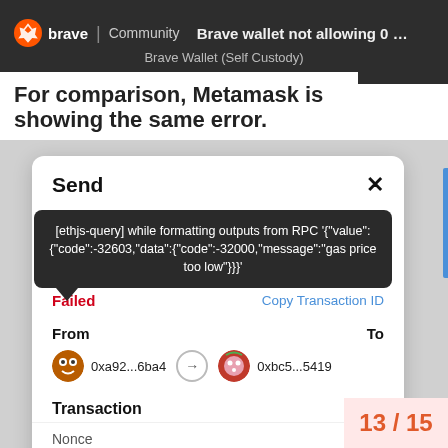Brave wallet not allowing 0 GAS Pri... | Brave Community | Brave Wallet (Self Custody)
For comparison, Metamask is showing the same error.
[Figure (screenshot): Screenshot of a Send modal from MetaMask showing a failed transaction. A dark tooltip reads: [ethjs-query] while formatting outputs from RPC '{"value": {"code":-32603,"data":{"code":-32000,"message":"gas price too low"}}}'.
Status shows Failed with a Copy Transaction ID link.
From address: 0xa92...6ba4, To address: 0xbc5...5419.
Transaction details: Nonce 0, Amount -0.0001 ARETH, Gas Limit (Units) 473716, Gas price 0, Total 0.0001 ARETH.
Activity log section visible at bottom.]